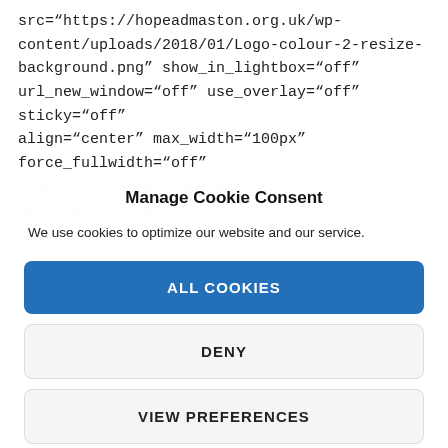src="https://hopeadmaston.org.uk/wp-content/uploads/2018/01/Logo-colour-2-resize-background.png" show_in_lightbox="off" url_new_window="off" use_overlay="off" sticky="off" align="center" max_width="100px" force_fullwidth="off" always_center_on_mobile="on" disabled_on="[on]on"
Manage Cookie Consent
We use cookies to optimize our website and our service.
ALL COOKIES
DENY
VIEW PREFERENCES